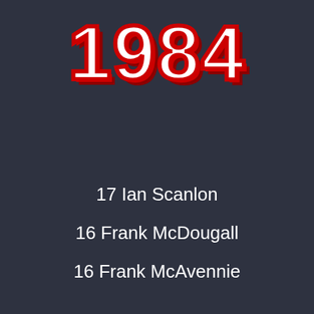1984
17 Ian Scanlon
16 Frank McDougall
16 Frank McAvennie